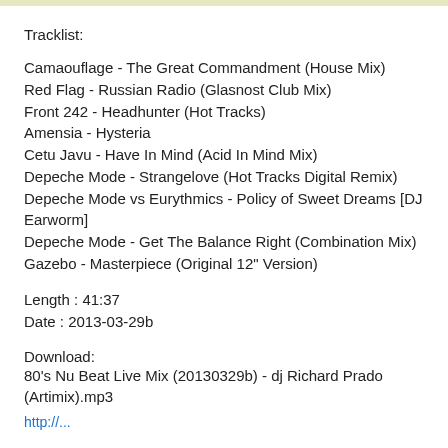Tracklist:
Camaouflage - The Great Commandment (House Mix)
Red Flag - Russian Radio (Glasnost Club Mix)
Front 242 - Headhunter (Hot Tracks)
Amensia - Hysteria
Cetu Javu - Have In Mind (Acid In Mind Mix)
Depeche Mode - Strangelove (Hot Tracks Digital Remix)
Depeche Mode vs Eurythmics - Policy of Sweet Dreams [DJ Earworm]
Depeche Mode - Get The Balance Right (Combination Mix)
Gazebo - Masterpiece (Original 12" Version)
Length : 41:37
Date : 2013-03-29b
Download:
80's Nu Beat Live Mix (20130329b) - dj Richard Prado (Artimix).mp3
http://...